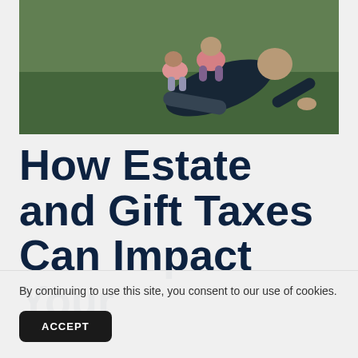[Figure (photo): A man doing a push-up exercise outdoors on grass with two young children playing on his back. He is wearing a dark jacket. The children are wearing colorful winter jackets.]
How Estate and Gift Taxes Can Impact Your
By continuing to use this site, you consent to our use of cookies.